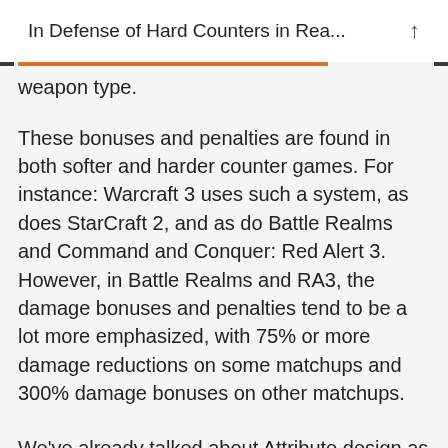In Defense of Hard Counters in Rea...
weapon type.
These bonuses and penalties are found in both softer and harder counter games. For instance: Warcraft 3 uses such a system, as does StarCraft 2, and as do Battle Realms and Command and Conquer: Red Alert 3. However, in Battle Realms and RA3, the damage bonuses and penalties tend to be a lot more emphasized, with 75% or more damage reductions on some matchups and 300% damage bonuses on other matchups.
We've already talked about Attribute design as well, using more immutable design attributes